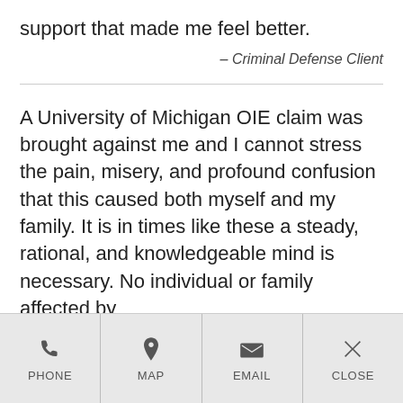support that made me feel better.
– Criminal Defense Client
A University of Michigan OIE claim was brought against me and I cannot stress the pain, misery, and profound confusion that this caused both myself and my family. It is in times like these a steady, rational, and knowledgeable mind is necessary. No individual or family affected by
PHONE   MAP   EMAIL   CLOSE